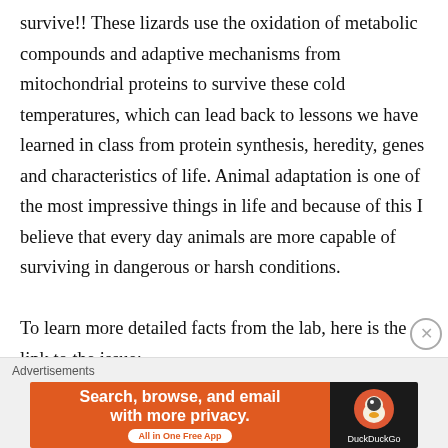survive!! These lizards use the oxidation of metabolic compounds and adaptive mechanisms from mitochondrial proteins to survive these cold temperatures, which can lead back to lessons we have learned in class from protein synthesis, heredity, genes and characteristics of life. Animal adaptation is one of the most impressive things in life and because of this I believe that every day animals are more capable of surviving in dangerous or harsh conditions.

To learn more detailed facts from the lab, here is the link to the issue:
[Figure (other): DuckDuckGo advertisement banner: orange left panel with text 'Search, browse, and email with more privacy. All in One Free App' and dark right panel with DuckDuckGo duck logo]